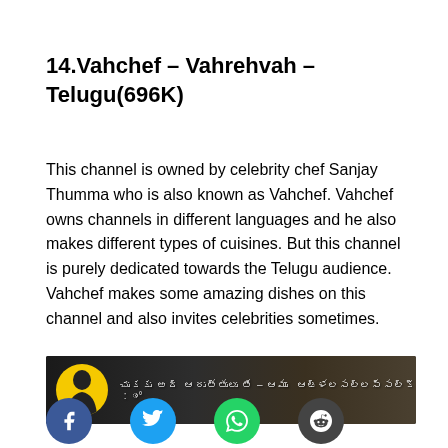14.Vahchef – Vahrehvah – Telugu(696K)
This channel is owned by celebrity chef Sanjay Thumma who is also known as Vahchef. Vahchef owns channels in different languages and he also makes different types of cuisines. But this channel is purely dedicated towards the Telugu audience. Vahchef makes some amazing dishes on this channel and also invites celebrities sometimes.
[Figure (screenshot): A YouTube video thumbnail showing a person in front of a dark smoky background with Telugu script text overlay]
[Figure (other): Social media share buttons: Facebook (blue), Twitter (light blue), WhatsApp (green), Reddit (dark grey)]